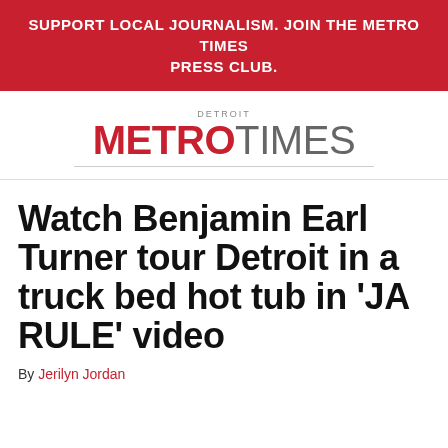SUPPORT LOCAL JOURNALISM. JOIN THE METRO TIMES PRESS CLUB.
[Figure (logo): Detroit Metro Times logo with 'DETROIT' above in small caps, 'METRO' in bold red and 'TIMES' in gray, with a horizontal rule beneath]
Watch Benjamin Earl Turner tour Detroit in a truck bed hot tub in 'JA RULE' video
By Jerilyn Jordan